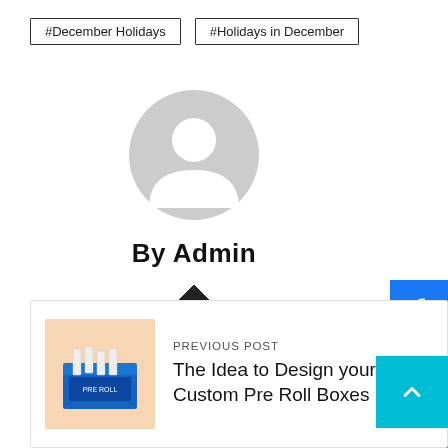#December Holidays
#Holidays in December
[Figure (illustration): Gray default user avatar icon (circular silhouette)]
By Admin
[Figure (illustration): Home icon]
[Figure (illustration): Social media sidebar icons: Facebook, Twitter, YouTube, Instagram]
PREVIOUS POST
[Figure (photo): Image of a box of pre-roll cigarettes on orange/peach background]
The Idea to Design your C Custom Pre Roll Boxes